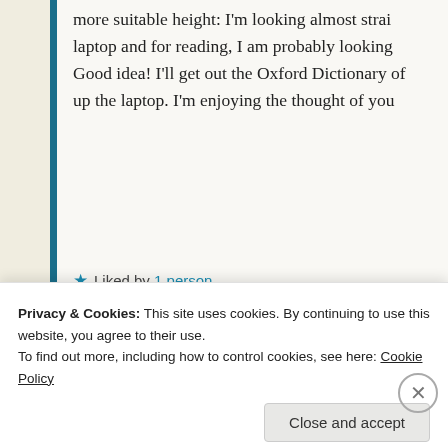more suitable height: I'm looking almost strai laptop and for reading, I am probably looking Good idea! I'll get out the Oxford Dictionary o up the laptop. I'm enjoying the thought of you
★ Liked by 1 person
[Figure (photo): Avatar photo of Carolyn O, a person with glasses]
Carolyn O  March 16, 2016 at 11:16 PM | Rep
Privacy & Cookies: This site uses cookies. By continuing to use this website, you agree to their use. To find out more, including how to control cookies, see here: Cookie Policy
Close and accept